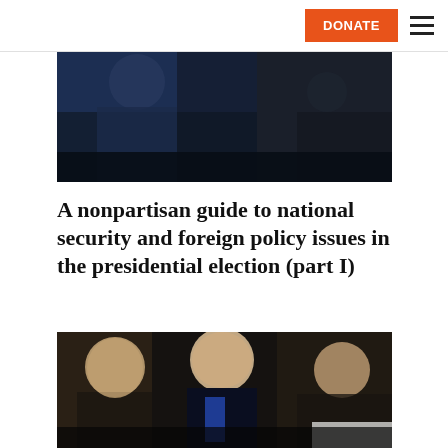DONATE [navigation menu]
[Figure (photo): Top portion of a photo showing figures at what appears to be a press conference or debate, dark blue background]
A nonpartisan guide to national security and foreign policy issues in the presidential election (part I)
[Figure (photo): Three men seated at a table, center figure is a bald man with intense expression wearing a blue tie, flanked by two older men, appears to be a formal panel or hearing]